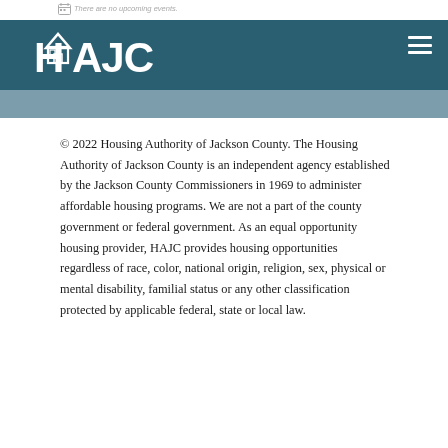There are no upcoming events.
[Figure (logo): HAJC Housing Authority of Jackson County logo — white text on teal background with house icon]
© 2022 Housing Authority of Jackson County. The Housing Authority of Jackson County is an independent agency established by the Jackson County Commissioners in 1969 to administer affordable housing programs. We are not a part of the county government or federal government. As an equal opportunity housing provider, HAJC provides housing opportunities regardless of race, color, national origin, religion, sex, physical or mental disability, familial status or any other classification protected by applicable federal, state or local law.